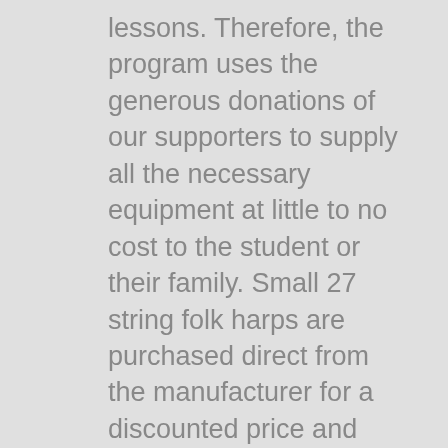lessons. Therefore, the program uses the generous donations of our supporters to supply all the necessary equipment at little to no cost to the student or their family. Small 27 string folk harps are purchased direct from the manufacturer for a discounted price and made available to the students to practice on after school each day and use for performances. We also supply each participant with a music stand, harp stool, tuning keys, music binder, and other needed incidentals. After the student successfully completes the program, they have an option to purchase the harp they have been using for a small fraction of the normal cost.